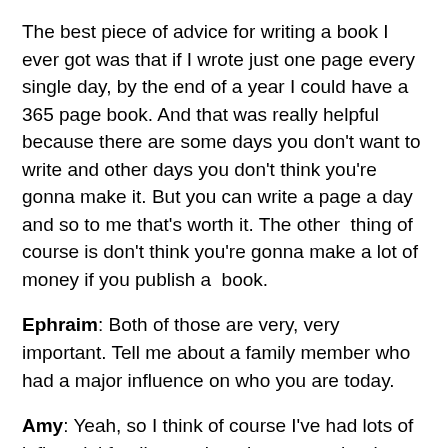The best piece of advice for writing a book I ever got was that if I wrote just one page every single day, by the end of a year I could have a 365 page book. And that was really helpful because there are some days you don't want to write and other days you don't think you're gonna make it. But you can write a page a day and so to me that's worth it. The other  thing of course is don't think you're gonna make a lot of money if you publish a  book.
Ephraim: Both of those are very, very important. Tell me about a family member who had a major influence on who you are today.
Amy: Yeah, so I think of course I've had lots of influential family members but my mother is a physician but she became a physician at a time when women weren't becoming physicians. I think she was one of five women in her